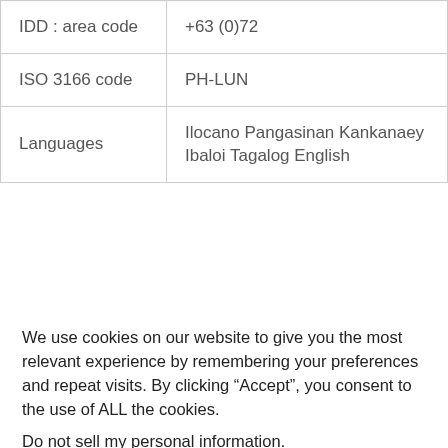| IDD : area code | +63 (0)72 |
| ISO 3166 code | PH-LUN |
| Languages | Ilocano Pangasinan Kankanaey Ibaloi Tagalog English |
We use cookies on our website to give you the most relevant experience by remembering your preferences and repeat visits. By clicking “Accept”, you consent to the use of ALL the cookies.
Do not sell my personal information.